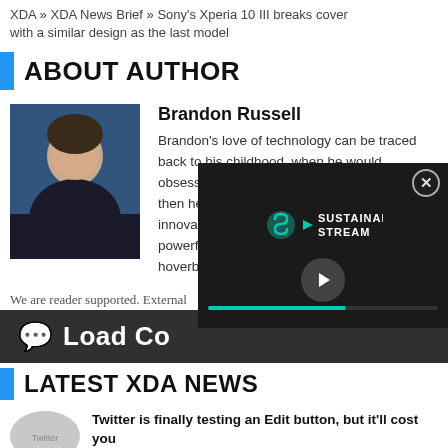XDA » XDA News Brief » Sony's Xperia 10 III breaks cover with a similar design as the last model
ABOUT AUTHOR
[Figure (photo): Portrait photo of Brandon Russell against a dark blue background]
Brandon Russell
Brandon's love of technology can be traced back to his childhood, when he would obsessively watch Back to the Future. Since then he's followed the industry and its many innovations, from handheld consoles to powerful smartphones. He's still waiting on a hoverboard.
We are reader supported. External
Load Co
[Figure (screenshot): Video player overlay showing Sustainable Stream logo with a play button and teal progress bar]
LATEST XDA NEWS
Twitter is finally testing an Edit button, but it'll cost you